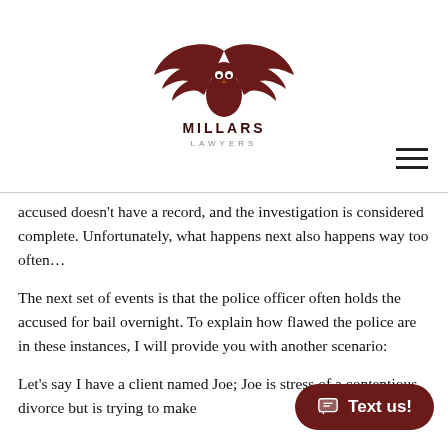[Figure (logo): Millars Lawyers logo: dark red winged owl emblem above text MILLARS LAWYERS]
accused doesn't have a record, and the investigation is considered complete. Unfortunately, what happens next also happens way too often…
The next set of events is that the police officer often holds the accused for bail overnight. To explain how flawed the police are in these instances, I will provide you with another scenario:
Let's say I have a client named Joe; Joe is stress of a contentious divorce but is trying to make